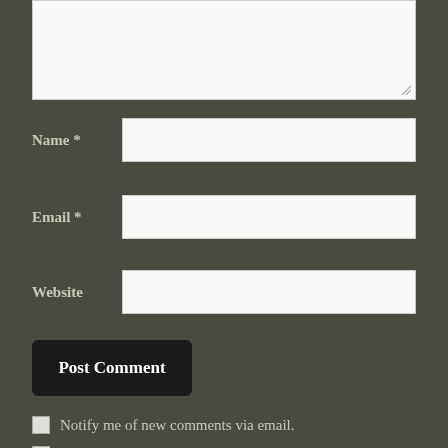[Figure (screenshot): A web comment form on a dark olive/grey background. Contains a large textarea at the top (partially visible), followed by labeled input fields for Name, Email, and Website. Below the fields is a dark 'Post Comment' button. At the bottom are two checkboxes with labels about email notifications.]
Name *
Email *
Website
Post Comment
Notify me of new comments via email.
Notify me of new posts via email.